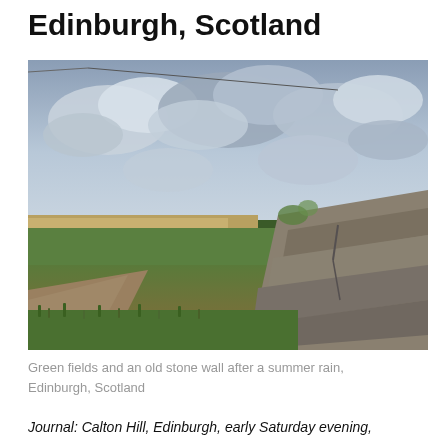Edinburgh, Scotland
[Figure (photo): Green fields and an old stone wall after a summer rain, Edinburgh, Scotland. Overcast sky with dramatic clouds, green grass in the foreground, a large rugged stone wall on the right, open farmland in the background.]
Green fields and an old stone wall after a summer rain, Edinburgh, Scotland
Journal: Calton Hill, Edinburgh, early Saturday evening,